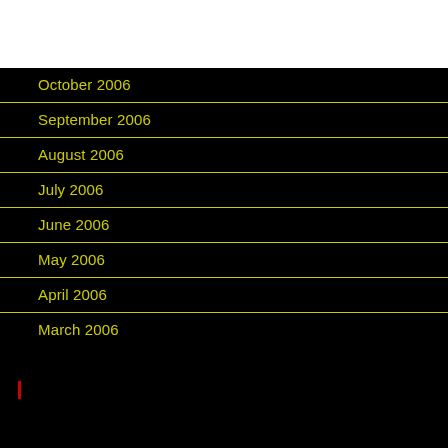October 2006
September 2006
August 2006
July 2006
June 2006
May 2006
April 2006
March 2006